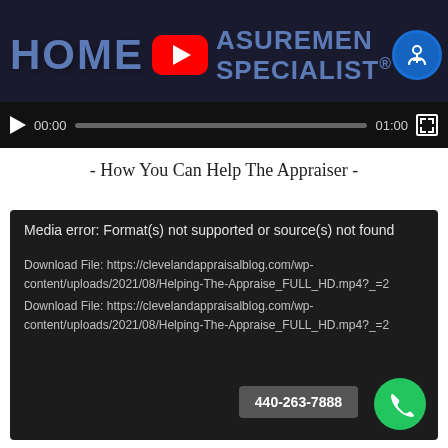[Figure (screenshot): Video player thumbnail showing 'HOME MEASUREMENT SPECIALIST®' title with YouTube play button overlay, video controls bar at bottom with play button, 00:00 timestamp, progress bar, 01:00 timestamp, and fullscreen button]
- How You Can Help The Appraiser -
[Figure (screenshot): Media error box with dark background showing: 'Media error: Format(s) not supported or source(s) not found' and two download file links to clevelandappraisalblog.com, with phone number 440-263-7888 badge and green call button in bottom right]